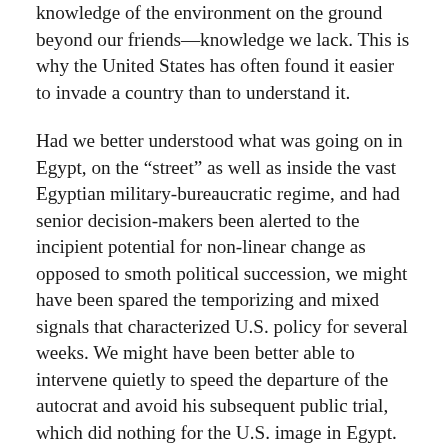knowledge of the environment on the ground beyond our friends—knowledge we lack. This is why the United States has often found it easier to invade a country than to understand it.
Had we better understood what was going on in Egypt, on the "street" as well as inside the vast Egyptian military-bureaucratic regime, and had senior decision-makers been alerted to the incipient potential for non-linear change as opposed to smoth political succession, we might have been spared the temporizing and mixed signals that characterized U.S. policy for several weeks. We might have been better able to intervene quietly to speed the departure of the autocrat and avoid his subsequent public trial, which did nothing for the U.S. image in Egypt. We might have been able to help foster a stable transition. Instead we deserted Mubarak for the one institution we knew: the Egyptian military. Now we sit heplessly on the sidelines as Egyptians take to the streets once more, this time to protest open-ended military rule. Had we avoided bureaucratic capture and taken pains to broaden our range of contacts in Egypt, we might well have had quicker access to the new